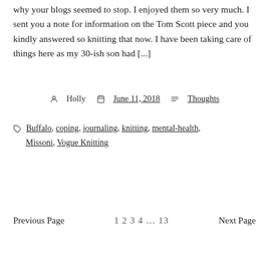why your blogs seemed to stop. I enjoyed them so very much. I sent you a note for information on the Tom Scott piece and you kindly answered so knitting that now. I have been taking care of things here as my 30-ish son had [...]
Holly  June 11, 2018  Thoughts
Buffalo, coping, journaling, knitting, mental-health, Missoni, Vogue Knitting
Previous Page  1 2 3 4 … 13  Next Page